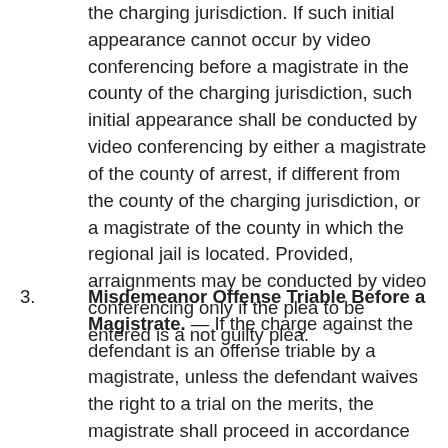the charging jurisdiction. If such initial appearance cannot occur by video conferencing before a magistrate in the county of the charging jurisdiction, such initial appearance shall be conducted by video conferencing by either a magistrate of the county of arrest, if different from the county of the charging jurisdiction, or a magistrate of the county in which the regional jail is located. Provided, arraignments may be conducted by video conferencing only if the plea to be entered is a not guilty plea.
3. Misdemeanor Offense Triable Before a Magistrate. — If the charge against the defendant is an offense triable by a magistrate, unless the defendant waives the right to a trial on the merits, the magistrate shall proceed in accordance with rules of procedure set forth herein. The magistrate shall inform the